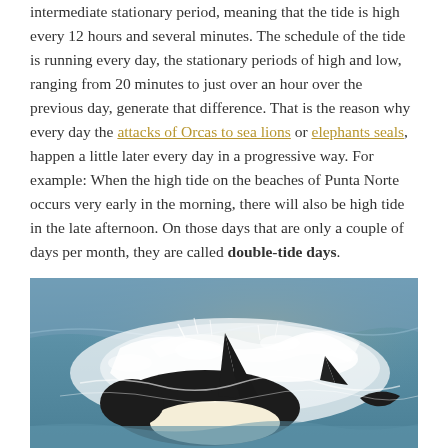intermediate stationary period, meaning that the tide is high every 12 hours and several minutes. The schedule of the tide is running every day, the stationary periods of high and low, ranging from 20 minutes to just over an hour over the previous day, generate that difference. That is the reason why every day the attacks of Orcas to sea lions or elephants seals, happen a little later every day in a progressive way. For example: When the high tide on the beaches of Punta Norte occurs very early in the morning, there will also be high tide in the late afternoon. On those days that are only a couple of days per month, they are called double-tide days.
[Figure (photo): An orca (killer whale) leaping through ocean waves, with its distinctive black and white coloring visible. White water spray surrounds the whale.]